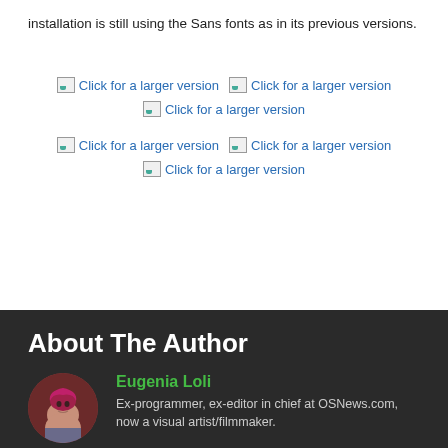installation is still using the Sans fonts as in its previous versions.
[Figure (other): Six broken image thumbnails arranged in two rows of three, each labeled 'Click for a larger version']
About The Author
[Figure (photo): Circular avatar photo of Eugenia Loli, a woman with pink/red hair]
Eugenia Loli
Ex-programmer, ex-editor in chief at OSNews.com, now a visual artist/filmmaker.